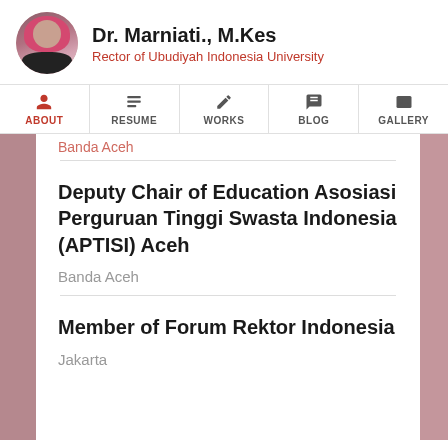Dr. Marniati., M.Kes — Rector of Ubudiyah Indonesia University
Banda Aceh (partial, cut off at top)
Deputy Chair of Education Asosiasi Perguruan Tinggi Swasta Indonesia (APTISI) Aceh
Banda Aceh
Member of Forum Rektor Indonesia
Jakarta